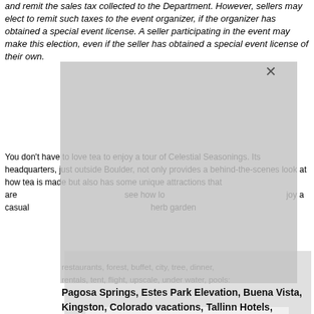and remit the sales tax collected to the Department. However, sellers may elect to remit such taxes to the event organizer, if the organizer has obtained a special event license. A seller participating in the event may make this election, even if the seller has obtained a special event license of their own.
You don't have to love tea to enjoy a tour of Celestial Seasonings. Its headquarters, just outside Boulder, not only provides a behind-the-scenes look at how tea is made but also has some unique attractions that are see how long enjoy a casual herb garden
[Figure (photo): Black and white photo of a man in a white suit with a black polka dot tie and matching pocket square, overlaid with a large yellow triangle shape in the lower right portion of the image.]
restaurants, forest, buffet, city, tree, dinner, rentals, tent, flight, upscale, under water, pools:
Pagosa Springs, Estes Park Elevation, Buena Vista, Kingston, Colorado vacations, Tallinn Hotels, Romantic Sydney, Tanzania Hotels